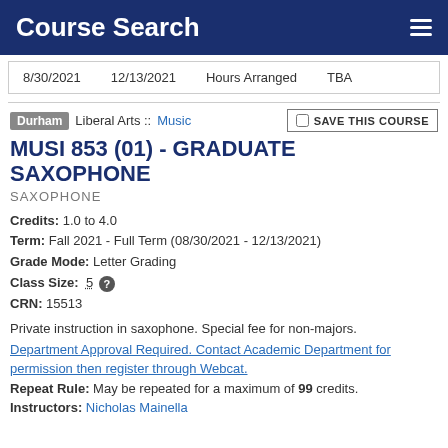Course Search
| Start Date | End Date | Schedule | Location |
| --- | --- | --- | --- |
| 8/30/2021 | 12/13/2021 | Hours Arranged | TBA |
Durham  Liberal Arts :: Music
MUSI 853 (01) - GRADUATE SAXOPHONE
SAXOPHONE
Credits: 1.0 to 4.0
Term: Fall 2021 - Full Term (08/30/2021 - 12/13/2021)
Grade Mode: Letter Grading
Class Size: 5
CRN: 15513
Private instruction in saxophone. Special fee for non-majors.
Department Approval Required. Contact Academic Department for permission then register through Webcat.
Repeat Rule: May be repeated for a maximum of 99 credits.
Instructors: Nicholas Mainella